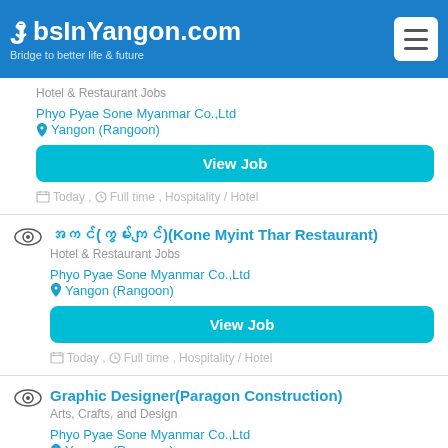JobsInYangon.com — Bridge to better life & future
Hotel & Restaurant Jobs
Phyo Pyae Sone Myanmar Co.,Ltd
Yangon (Rangoon)
View Job
Today , Full time , Hospitality / Hotel
အကင်(ကွမ်းကျင်)(Kone Myint Thar Restaurant)
Hotel & Restaurant Jobs
Phyo Pyae Sone Myanmar Co.,Ltd
Yangon (Rangoon)
View Job
Today , Full time , Hospitality / Hotel
Graphic Designer(Paragon Construction)
Arts, Crafts, and Design
Phyo Pyae Sone Myanmar Co.,Ltd
Yangon (Rangoon)